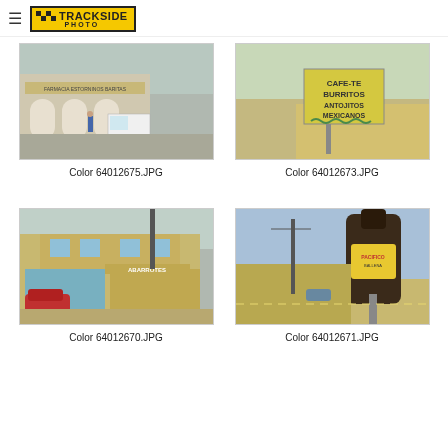Trackside Photo
[Figure (photo): Street scene with a pharmacy/store building, white van parked, person walking, arched facade]
Color 64012675.JPG
[Figure (photo): Roadside sign reading CAFE-TE BURRITOS ANTOJITOS MEXICANOS on dirt road]
Color 64012673.JPG
[Figure (photo): Two-story corner building with ABARROTES store, red car parked, dirt lot]
Color 64012670.JPG
[Figure (photo): Large oversized beer bottle (Pacifico Ballena) sculpture/sign on street corner]
Color 64012671.JPG